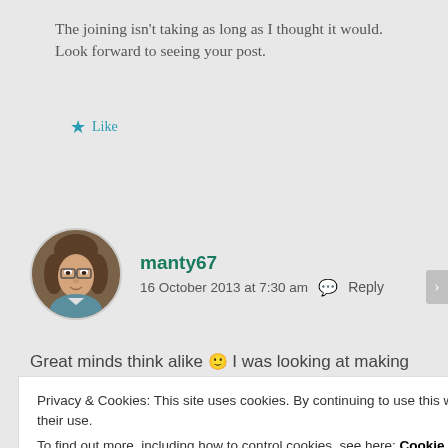The joining isn't taking as long as I thought it would. Look forward to seeing your post.
★ Like
manty67
16 October 2013 at 7:30 am  💬 Reply
Great minds think alike 🙂 I was looking at making
Privacy & Cookies: This site uses cookies. By continuing to use this website, you agree to their use.
To find out more, including how to control cookies, see here: Cookie Policy
Close and accept